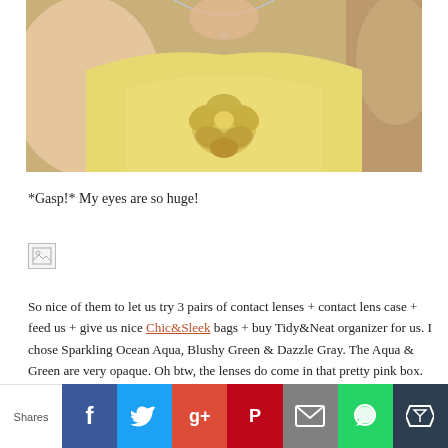[Figure (photo): Close-up photo of person wearing a yellow strapless top with a large rosette/flower detail, wearing a silver necklace, hand visible near face]
*Gasp!* My eyes are so huge!
[Figure (photo): Broken image placeholder (small image failed to load)]
So nice of them to let us try 3 pairs of contact lenses + contact lens case + feed us + give us nice Chic&Sleek bags + buy Tidy&Neat organizer for us. I chose Sparkling Ocean Aqua, Blushy Green & Dazzle Gray. The Aqua & Green are very opaque. Oh btw, the lenses do come in that pretty pink box.
Shares [Facebook] [Twitter] [Google+] [Pinterest] [Email] [WhatsApp] [Bloglovin]